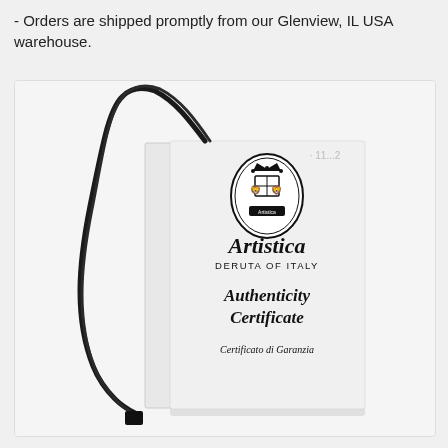- Orders are shipped promptly from our Glenview, IL USA warehouse.
[Figure (photo): Photo of an Artistica Deruta of Italy Authenticity Certificate card (Certificato di Garanzia) with a black cord/tassel attached, shown as a folded white card with the brand crest logo at top.]